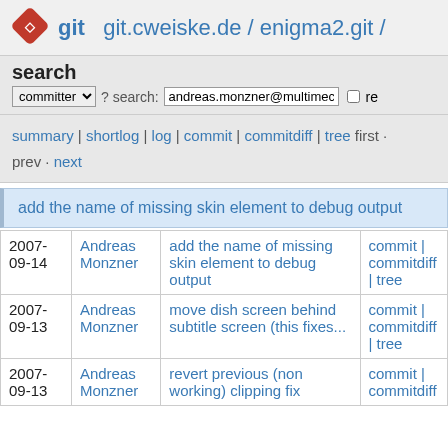git  git.cweiske.de / enigma2.git /
search
committer ▾  ? search: andreas.monzner@multimec  □ re
summary | shortlog | log | commit | commitdiff | tree first · prev · next
add the name of missing skin element to debug output
| Date | Author | Message | Actions |
| --- | --- | --- | --- |
| 2007-09-14 | Andreas Monzner | add the name of missing skin element to debug output | commit | commitdiff | tree |
| 2007-09-13 | Andreas Monzner | move dish screen behind subtitle screen (this fixes... | commit | commitdiff | tree |
| 2007-09-13 | Andreas Monzner | revert previous (non working) clipping fix | commit | commitdiff |